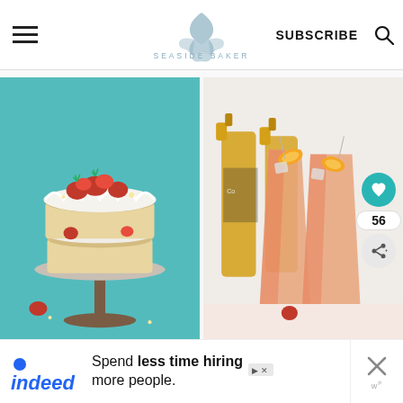The Seaside Baker | SUBSCRIBE
[Figure (photo): Strawberry layer cake with whipped cream on a cake stand against a teal background]
[Figure (photo): Two tall glasses of orange-pink drinks with mini umbrellas and Corona beer bottles in background]
[Figure (advertisement): Indeed advertisement: Spend less time hiring more people.]